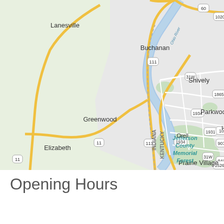[Figure (map): Google Maps view showing the Indiana-Kentucky border area near Louisville, Kentucky. Visible locations include Lanesville, Buchanan, Greenwood, Elizabeth, Prairie Village, Parkwood, Shively, Orell, Jefferson County Memorial Forest, and the Ohio River. Roads labeled include routes 11, 60, 111, 907, 841, 1020, 1526, 1865, 1931, 1934, 31W, and 3. State border between Indiana and Kentucky is labeled.]
Opening Hours